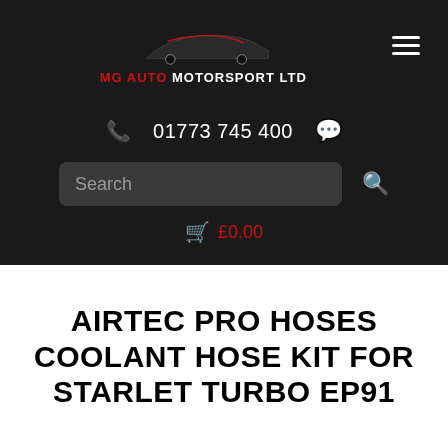[Figure (logo): MG Auto Motorsport Ltd logo with red and black car silhouette above text]
01773 745 400
Search
£0.00
AIRTEC PRO HOSES COOLANT HOSE KIT FOR STARLET TURBO EP91